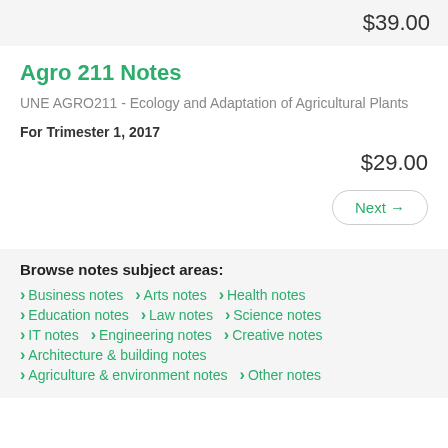$39.00
Agro 211 Notes
UNE AGRO211 - Ecology and Adaptation of Agricultural Plants
For Trimester 1, 2017
$29.00
Next →
Browse notes subject areas:
Business notes
Arts notes
Health notes
Education notes
Law notes
Science notes
IT notes
Engineering notes
Creative notes
Architecture & building notes
Agriculture & environment notes
Other notes